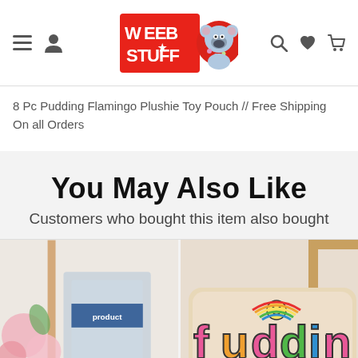[Figure (logo): Weeb Stuff website navigation bar with hamburger menu, user icon, Weeb Stuff logo with koala mascot, search, heart/wishlist, and cart icons]
8 Pc Pudding Flamingo Plushie Toy Pouch // Free Shipping On all Orders
You May Also Like
Customers who bought this item also bought
[Figure (photo): Two product images partially visible: left shows a plushie-related product with pink flowers, right shows a tan/beige pillow with 'fudding' text in colorful letters with a smiley face and rainbow design]